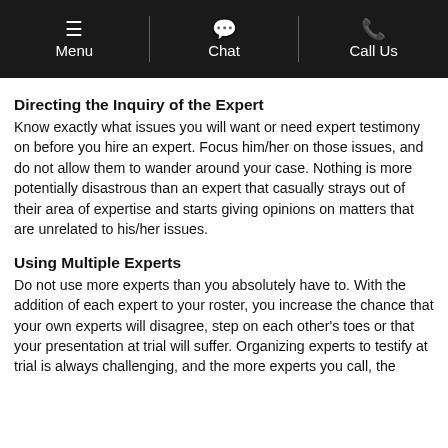Menu | Chat | Call Us
Directing the Inquiry of the Expert
Know exactly what issues you will want or need expert testimony on before you hire an expert. Focus him/her on those issues, and do not allow them to wander around your case. Nothing is more potentially disastrous than an expert that casually strays out of their area of expertise and starts giving opinions on matters that are unrelated to his/her issues.
Using Multiple Experts
Do not use more experts than you absolutely have to. With the addition of each expert to your roster, you increase the chance that your own experts will disagree, step on each other's toes or that your presentation at trial will suffer. Organizing experts to testify at trial is always challenging, and the more experts you call, the